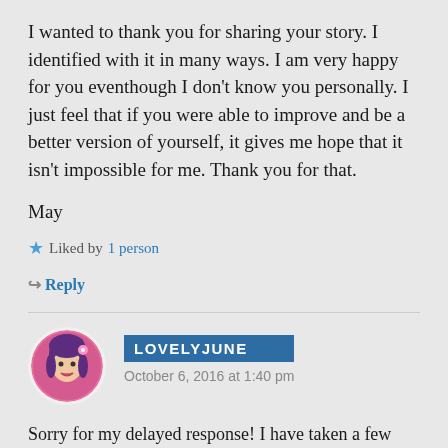I wanted to thank you for sharing your story. I identified with it in many ways. I am very happy for you eventhough I don't know you personally. I just feel that if you were able to improve and be a better version of yourself, it gives me hope that it isn't impossible for me. Thank you for that.
May
★ Liked by 1 person
↪ Reply
LOVELYJUNE
October 6, 2016 at 1:40 pm
Sorry for my delayed response! I have taken a few months off. But so glad to hear this blog has given